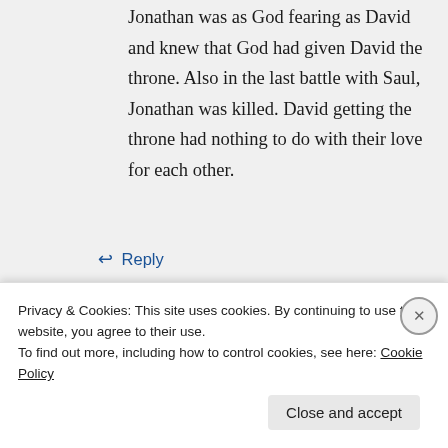Jonathan was as God fearing as David and knew that God had given David the throne. Also in the last battle with Saul, Jonathan was killed. David getting the throne had nothing to do with their love for each other.
↵ Reply
KievJoy on August 11, 2012 at 10:51
Privacy & Cookies: This site uses cookies. By continuing to use this website, you agree to their use.
To find out more, including how to control cookies, see here: Cookie Policy